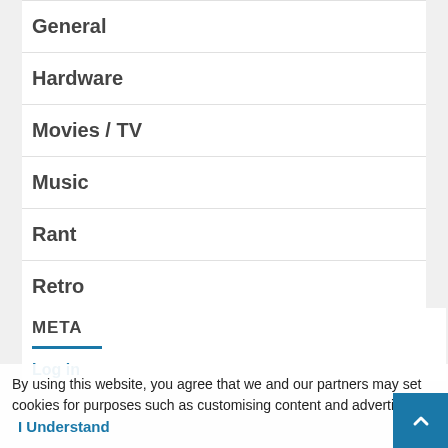General
Hardware
Movies / TV
Music
Rant
Retro
Software
META
Log in
By using this website, you agree that we and our partners may set cookies for purposes such as customising content and advertising. I Understand